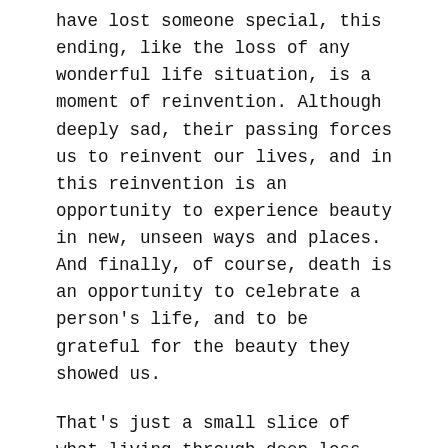have lost someone special, this ending, like the loss of any wonderful life situation, is a moment of reinvention. Although deeply sad, their passing forces us to reinvent our lives, and in this reinvention is an opportunity to experience beauty in new, unseen ways and places. And finally, of course, death is an opportunity to celebrate a person's life, and to be grateful for the beauty they showed us.
That's just a small slice of what living through deep loss has taught us.
Just a short piece of a longer story that's still being written . . .